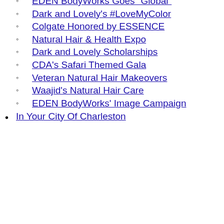Sweetgrass Cultural Arts Fest
Weave Hair Loss Story Viral
Natural #Hairtruth Campaign
EDEN BodyWorks Goes "Global"
Dark and Lovely's #LoveMyColor
Colgate Honored by ESSENCE
Natural Hair & Health Expo
Dark and Lovely Scholarships
CDA's Safari Themed Gala
Veteran Natural Hair Makeovers
Waajid's Natural Hair Care
EDEN BodyWorks' Image Campaign
In Your City Of Charleston